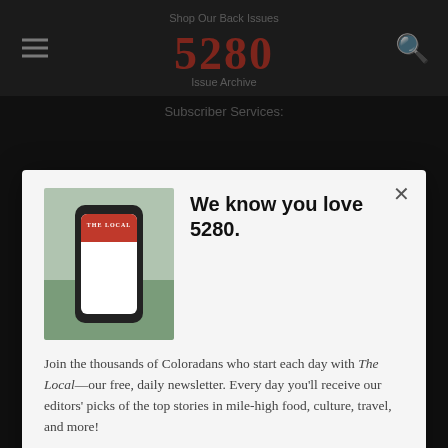Shop Our Back Issues | 5280 | Issue Archive
Subscriber Services:
We know you love 5280.
Join the thousands of Coloradans who start each day with The Local—our free, daily newsletter. Every day you'll receive our editors' picks of the top stories in mile-high food, culture, travel, and more!
SIGN ME UP!
Senior Living Communities
Best of 5280
The Future of Denver Dining